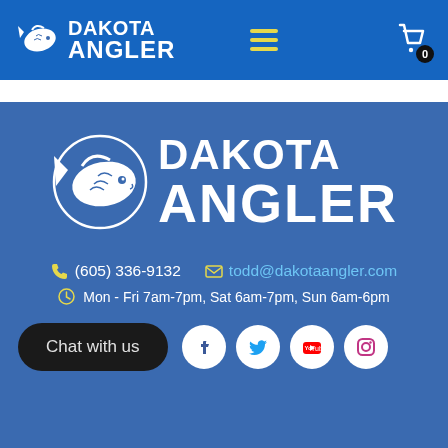[Figure (logo): Dakota Angler logo with fish icon in blue header nav bar, hamburger menu icon in center, and shopping cart icon with 0 badge on right]
[Figure (logo): Large Dakota Angler logo with fish icon on blue background]
(605) 336-9132   todd@dakotaangler.com
Mon - Fri 7am-7pm, Sat 6am-7pm, Sun 6am-6pm
Chat with us
[Figure (infographic): Row of social media icons: Facebook, Twitter, YouTube, Instagram]